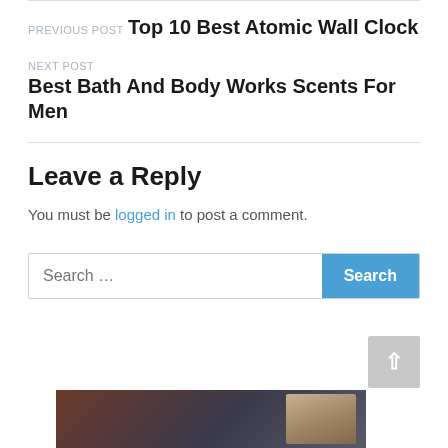PREVIOUS POST
Top 10 Best Atomic Wall Clock
NEXT POST
Best Bath And Body Works Scents For Men
Leave a Reply
You must be logged in to post a comment.
Search …
[Figure (other): Partial image of a person visible at bottom of page]